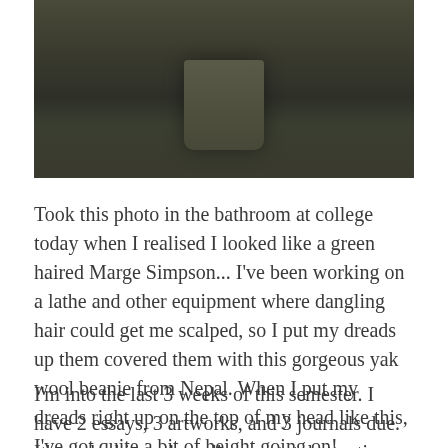[Figure (photo): Photo taken in a bathroom at college showing person with green dreadlocks piled up under a yak wool beanie from Nepal, resembling Marge Simpson]
Took this photo in the bathroom at college today when I realised I looked like a green haired Marge Simpson... I've been working on a lathe and other equipment where dangling hair could get me scalped, so I put my dreads up them covered them with this gorgeous yak wool beanie from Nepal. When I put my dreads right up on the top of my head like this, I've got quite a bit of height going on!
I'm into the last 3 weeks of this semester. I have 2 essays, 3 artworks, and 3 journals due. It's packed in and needing my total attention. I'm flourishing. I'm hitting my stride and finally finding my feet. I'm also rapidly